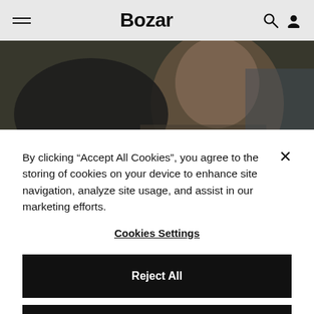Bozar
[Figure (photo): Close-up photo of a person's face, partially obscured by a dark glove or hand, with a blurred background]
By clicking “Accept All Cookies”, you agree to the storing of cookies on your device to enhance site navigation, analyze site usage, and assist in our marketing efforts.
Cookies Settings
Reject All
Accept All Cookies